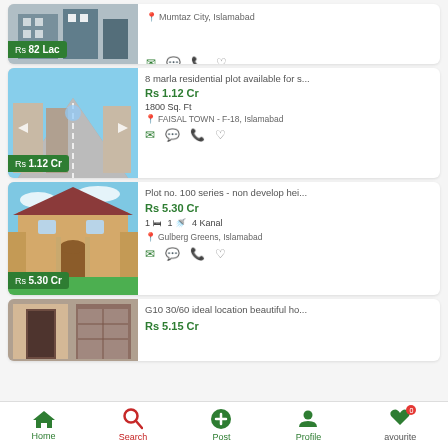[Figure (screenshot): Partial listing card at top: building construction photo, price Rs 82 Lac, location Mumtaz City Islamabad]
[Figure (screenshot): Listing card: aerial view of residential plot, title '8 marla residential plot available for s...', price Rs 1.12 Cr, 1800 Sq. Ft, FAISAL TOWN - F-18 Islamabad]
[Figure (screenshot): Listing card: large villa/house photo, title 'Plot no. 100 series - non develop hei...', price Rs 5.30 Cr, 1 bed 1 bath 4 Kanal, Gulberg Greens Islamabad]
[Figure (screenshot): Partial listing card at bottom: interior photo, title 'G10 30/60 ideal location beautiful ho...', price Rs 5.15 Cr]
Home | Search | Post | Profile | avourite (0)